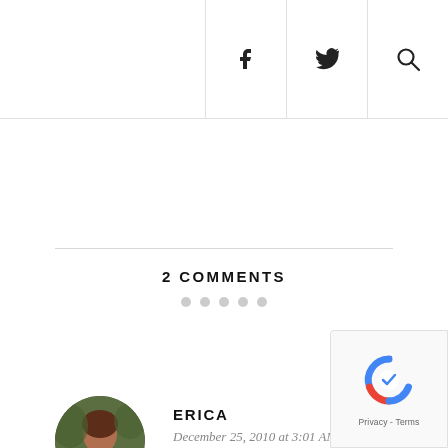Social media icons: Facebook, Twitter, Search
2 COMMENTS
· · · · ·
[Figure (photo): Circular avatar photo of a woman with long dark hair, sitting outdoors]
ERICA
December 25, 2010 at 3:01 AM
[Figure (logo): Google reCAPTCHA badge with logo and Privacy - Terms text]